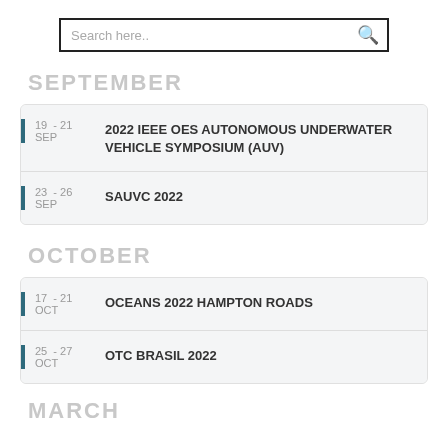[Figure (screenshot): Search input bar with magnifying glass icon]
SEPTEMBER
19 - 21 SEP | 2022 IEEE OES AUTONOMOUS UNDERWATER VEHICLE SYMPOSIUM (AUV)
23 - 26 SEP | SAUVC 2022
OCTOBER
17 - 21 OCT | OCEANS 2022 HAMPTON ROADS
25 - 27 OCT | OTC BRASIL 2022
MARCH